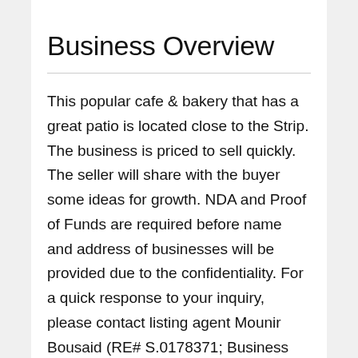Business Overview
This popular cafe & bakery that has a great patio is located close to the Strip. The business is priced to sell quickly. The seller will share with the buyer some ideas for growth. NDA and Proof of Funds are required before name and address of businesses will be provided due to the confidentiality. For a quick response to your inquiry, please contact listing agent Mounir Bousaid (RE# S.0178371; Business Broker Permit# BUSB.0006910) or Andrea Bousaid (RE# S.0176816; Business Broker Permit# BUSB.0006883) at moe@fcbb.com or